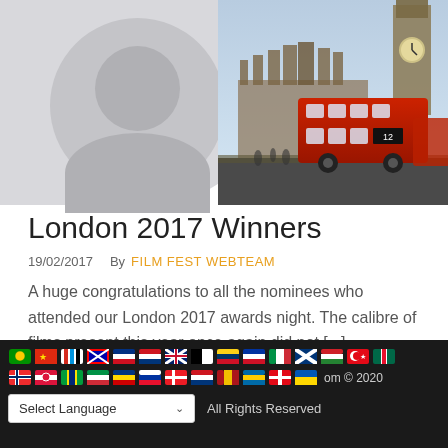[Figure (photo): Left side: grey avatar placeholder with circular profile icon. Right side: Photo of London showing Big Ben tower and a red double-decker bus on the street.]
London 2017 Winners
19/02/2017   By  FILM FEST WEBTEAM
A huge congratulations to all the nominees who attended our London 2017 awards night. The calibre of films present this year once again did not [...]
[Figure (infographic): Dark footer bar with two rows of international flag icons (country flags as circular/rounded icons), a language selector dropdown reading 'Select Language', and copyright text '.om © 2020 All Rights Reserved']